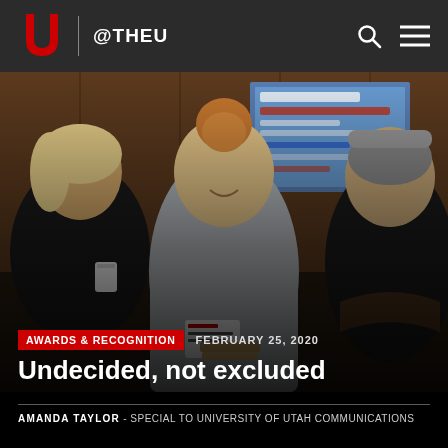@THEU
[Figure (photo): Three people having a conversation indoors at what appears to be a university event. A woman with blond hair on the left, a smiling young woman with hair in a bun wearing a gray sweatshirt with a name tag in the center, and a person wearing a gray beanie hat on the right. A presentation screen is visible in the background.]
AWARDS & RECOGNITION
FEBRUARY 25, 2020
Undecided, not excluded
AMANDA TAYLOR - SPECIAL TO UNIVERSITY OF UTAH COMMUNICATIONS